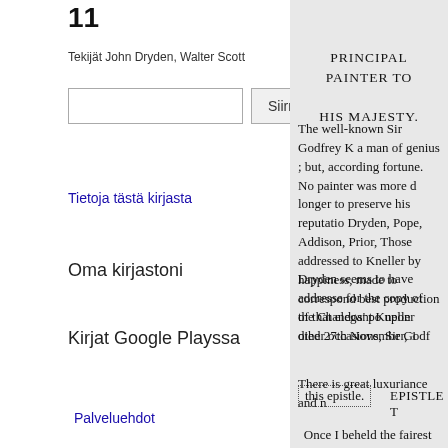11
Tekijät John Dryden, Walter Scott
Siirry
Tietoja tästä kirjasta
Oma kirjastoni
Kirjat Google Playssa
Palveluehdot
PRINCIPAL PAINTER TO

HIS MAJESTY.
The well-known Sir Godfrey K a man of genius ; but, according fortune. No painter was more d longer to preserve his reputatio Dryden, Pope, Addison, Prior, Those addressed to Kneller by happiness, made to correspond best production of that elegant Kneller died 27th November, 1
Dryden seems to have addresse for the copy of the Chandos' po upon other occasions, Sir Godf
There is great luxuriance and n
this epistle.
EPISTLE T
Once I beheld the fairest
And still the sweet idea c